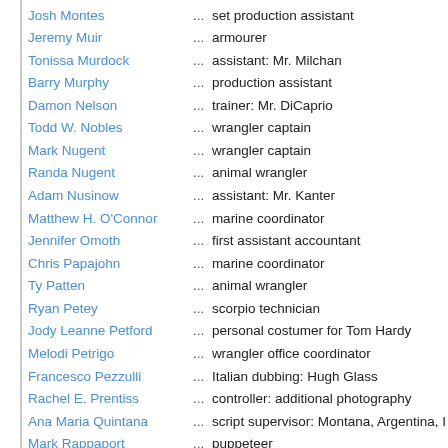| Name | ... | Role |
| --- | --- | --- |
| Josh Montes | ... | set production assistant |
| Jeremy Muir | ... | armourer |
| Tonissa Murdock | ... | assistant: Mr. Milchan |
| Barry Murphy | ... | production assistant |
| Damon Nelson | ... | trainer: Mr. DiCaprio |
| Todd W. Nobles | ... | wrangler captain |
| Mark Nugent | ... | wrangler captain |
| Randa Nugent | ... | animal wrangler |
| Adam Nusinow | ... | assistant: Mr. Kanter |
| Matthew H. O'Connor | ... | marine coordinator |
| Jennifer Omoth | ... | first assistant accountant |
| Chris Papajohn | ... | marine coordinator |
| Ty Patten | ... | animal wrangler |
| Ryan Petey | ... | scorpio technician |
| Jody Leanne Petford | ... | personal costumer for Tom Hardy |
| Melodi Petrigo | ... | wrangler office coordinator |
| Francesco Pezzulli | ... | Italian dubbing: Hugh Glass |
| Rachel E. Prentiss | ... | controller: additional photography |
| Ana Maria Quintana | ... | script supervisor: Montana, Argentina, I |
| Mark Rappaport | ... | puppeteer |
| Tyler Reinhold | ... | stand-in |
| Jean-Michel Richaud | ... | voice: French Trapper |
| Jarod Ridge | ... | assistant marine coordinator |
| Reza Roohi | ... | security: Mr. DiCaprio / security: Mr. Di |